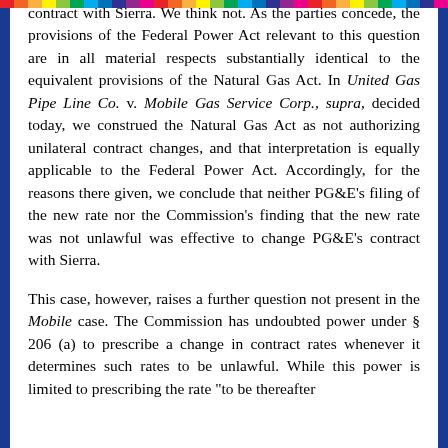contract with Sierra. We think not. As the parties concede, the provisions of the Federal Power Act relevant to this question are in all material respects substantially identical to the equivalent provisions of the Natural Gas Act. In United Gas Pipe Line Co. v. Mobile Gas Service Corp., supra, decided today, we construed the Natural Gas Act as not authorizing unilateral contract changes, and that interpretation is equally applicable to the Federal Power Act. Accordingly, for the reasons there given, we conclude that neither PG&E's filing of the new rate nor the Commission's finding that the new rate was not unlawful was effective to change PG&E's contract with Sierra.
This case, however, raises a further question not present in the Mobile case. The Commission has undoubted power under § 206 (a) to prescribe a change in contract rates whenever it determines such rates to be unlawful. While this power is limited to prescribing the rate "to be thereafter charged" and the new rate affects only existing contracts,